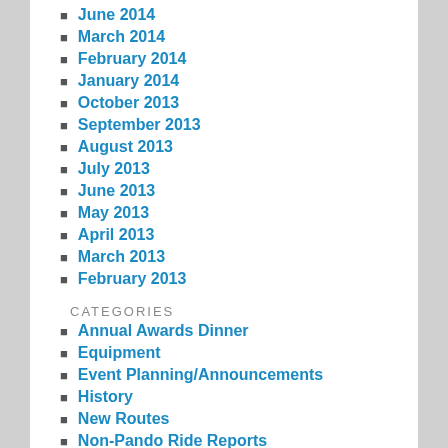June 2014
March 2014
February 2014
January 2014
October 2013
September 2013
August 2013
July 2013
June 2013
May 2013
April 2013
March 2013
February 2013
CATEGORIES
Annual Awards Dinner
Equipment
Event Planning/Announcements
History
New Routes
Non-Pando Ride Reports